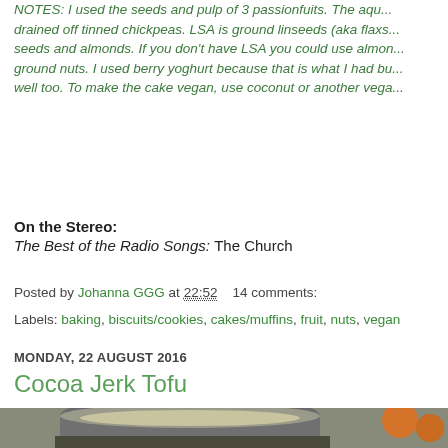NOTES: I used the seeds and pulp of 3 passionfuits. The aqu... drained off tinned chickpeas. LSA is ground linseeds (aka flaxs... seeds and almonds. If you don't have LSA you could use almon... ground nuts. I used berry yoghurt because that is what I had bu... well too. To make the cake vegan, use coconut or another vega...
On the Stereo:
The Best of the Radio Songs: The Church
Posted by Johanna GGG at 22:52    14 comments:
Labels: baking, biscuits/cookies, cakes/muffins, fruit, nuts, vegan
MONDAY, 22 AUGUST 2016
Cocoa Jerk Tofu
[Figure (photo): Photo of cocoa jerk tofu dish in a bowl with rice and vegetables]